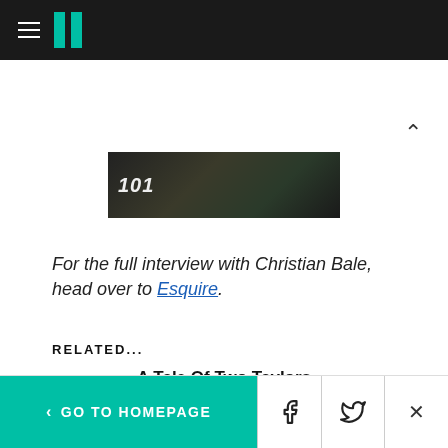HuffPost navigation header with hamburger menu and logo
[Figure (screenshot): Dark video thumbnail showing partially visible text and a person in a floral outfit]
For the full interview with Christian Bale, head over to Esquire.
RELATED...
A Tale Of Two Taylors
Kobe Bryant Dies In Helicopter Crash
< GO TO HOMEPAGE  [Facebook] [Twitter] [X]